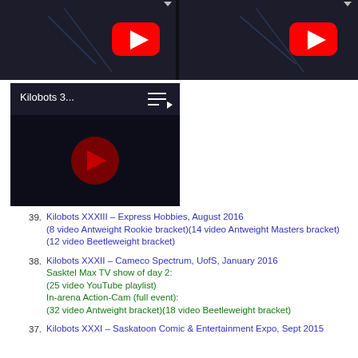[Figure (screenshot): Two YouTube video thumbnails side by side showing aerial/traffic footage with red YouTube play buttons, dark background]
[Figure (screenshot): YouTube video thumbnail titled 'Kilobots 3...' with playlist icon and dark red play button]
39. Kilobots XXXIII – Express Hobbies, August 2016 (8 video Antweight Rookie bracket)(14 video Antweight Masters bracket)(12 video Beetleweight bracket)
38. Kilobots XXXII – Cameco Spectrum, UofS, January 2016 Sasktel Max TV show of day 2: (25 video YouTube playlist) In-arena Action-Cam (full event): (32 video Antweight bracket)(18 video Beetleweight bracket)
37. Kilobots XXXI – Saskatoon Comic & Entertainment Expo, Sept 2015